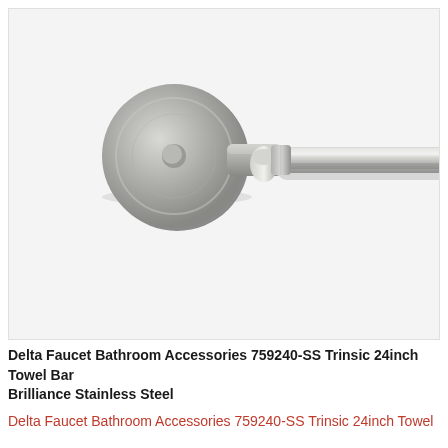[Figure (photo): Close-up photo of a brushed stainless steel towel bar with a circular wall mount on the left side. The bar extends to the right. The finish is Brilliance Stainless Steel with a modern cylindrical design.]
Delta Faucet Bathroom Accessories 759240-SS Trinsic 24inch Towel Bar Brilliance Stainless Steel
Delta Faucet Bathroom Accessories 759240-SS Trinsic 24inch Towel